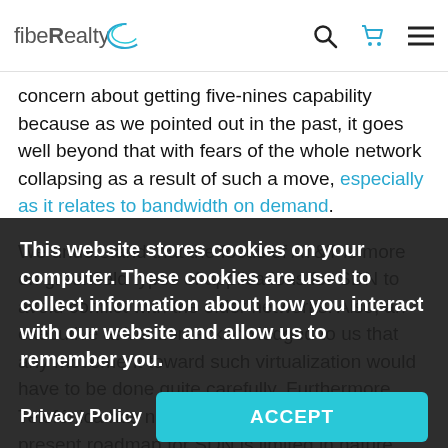fibeRealty [logo with search, cart, menu icons]
concern about getting five-nines capability because as we pointed out in the past, it goes well beyond that with fears of the whole network collapsing as a result of such a move, especially as it relates to bandwidth on demand.
We understand that the focus of AT&T is more on greenfield types of applications for SDN to avoid conflict with the older networks. Also, an executive at Verizon acknowledged to us that any movement toward such virtualization would have to be done quite carefully. Furthermore, Telefónica has not hidden its stance that its present roadmap for SDN is limited in nature.
Even Ciena is telling shareholders that this is not just a decision in moving towards greater agility, but such carriers could be as long as 24 months and the process
This website stores cookies on your computer. These cookies are used to collect information about how you interact with our website and allow us to remember you.
Privacy Policy
ACCEPT